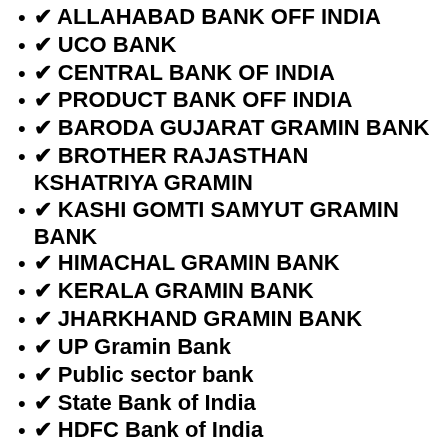✔ ALLAHABAD BANK OFF INDIA
✔ UCO BANK
✔ CENTRAL BANK OF INDIA
✔ PRODUCT BANK OFF INDIA
✔ BARODA GUJARAT GRAMIN BANK
✔ BROTHER RAJASTHAN KSHATRIYA GRAMIN
✔ KASHI GOMTI SAMYUT GRAMIN BANK
✔ HIMACHAL GRAMIN BANK
✔ KERALA GRAMIN BANK
✔ JHARKHAND GRAMIN BANK
✔ UP Gramin Bank
✔ Public sector bank
✔ State Bank of India
✔ HDFC Bank of India
✔ Axis Bank of India
✔ ICICI Bank of India
✔ Union Bank of India